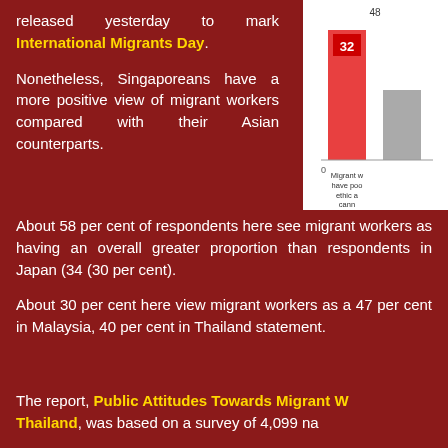released yesterday to mark International Migrants Day. Nonetheless, Singaporeans have a more positive view of migrant workers compared with their Asian counterparts.
[Figure (bar-chart): Migrant workers have poor work ethic and cannot be trusted]
About 58 per cent of respondents here see migrant workers as having an overall greater proportion than respondents in Japan (34) (30 per cent).
About 30 per cent here view migrant workers as a 47 per cent in Malaysia, 40 per cent in Thailand statement.
The report, Public Attitudes Towards Migrant Workers Thailand, was based on a survey of 4,099 na Singapore...